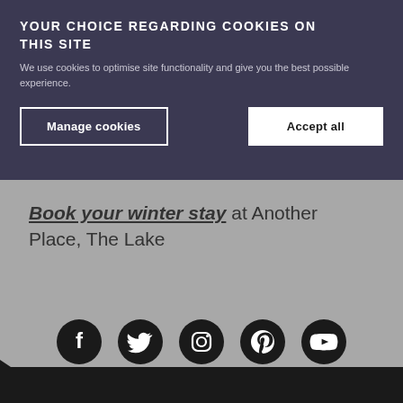YOUR CHOICE REGARDING COOKIES ON THIS SITE
We use cookies to optimise site functionality and give you the best possible experience.
Manage cookies
Accept all
Book your winter stay at Another Place, The Lake
[Figure (infographic): Social media icons row: Facebook, Twitter, Instagram, Pinterest, Vimeo]
NEWSLETTER SIGN UP